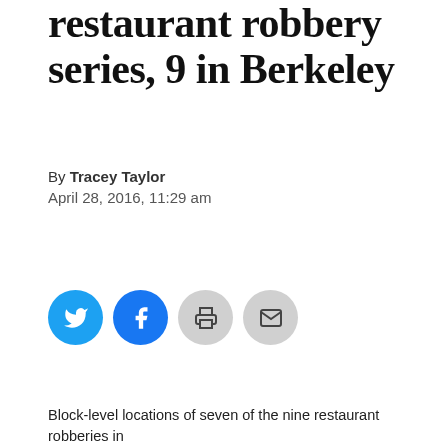restaurant robbery series, 9 in Berkeley
By Tracey Taylor
April 28, 2016, 11:29 am
[Figure (other): Social sharing icons: Twitter (blue), Facebook (blue), Print (gray), Email (gray)]
Block-level locations of seven of the nine restaurant robberies in